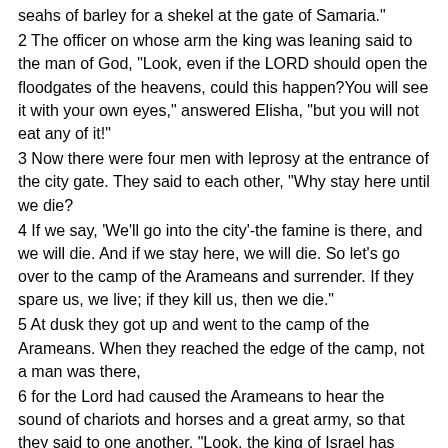seahs of barley for a shekel at the gate of Samaria."
2 The officer on whose arm the king was leaning said to the man of God, "Look, even if the LORD should open the floodgates of the heavens, could this happen?You will see it with your own eyes," answered Elisha, "but you will not eat any of it!"
3 Now there were four men with leprosy at the entrance of the city gate. They said to each other, "Why stay here until we die?
4 If we say, 'We'll go into the city'-the famine is there, and we will die. And if we stay here, we will die. So let's go over to the camp of the Arameans and surrender. If they spare us, we live; if they kill us, then we die."
5 At dusk they got up and went to the camp of the Arameans. When they reached the edge of the camp, not a man was there,
6 for the Lord had caused the Arameans to hear the sound of chariots and horses and a great army, so that they said to one another, "Look, the king of Israel has hired the Hittite and Egyptian kings to attack us!"
7 So they got up and fled in the dusk and abandoned their tents and their horses and donkeys. They left the camp as it was and ran for their lives.
8 The men who had leprosy reached the edge of the camp and